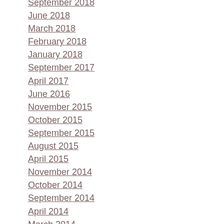September 2018
June 2018
March 2018
February 2018
January 2018
September 2017
April 2017
June 2016
November 2015
October 2015
September 2015
August 2015
April 2015
November 2014
October 2014
September 2014
April 2014
March 2014
February 2014